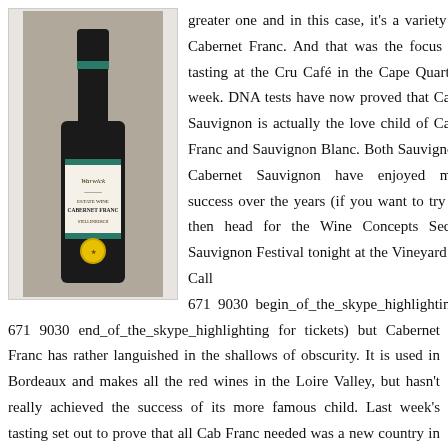[Figure (photo): A bottle of Warwick Cabernet Franc wine with a gold medal sticker, displayed against a grey background.]
greater one and in this case, it's a variety called Cabernet Franc. And that was the focus of our tasting at the Cru Café in the Cape Quarter last week. DNA tests have now proved that Cabernet Sauvignon is actually the love child of Cabernet Franc and Sauvignon Blanc. Both Sauvignon and Cabernet Sauvignon have enjoyed massive success over the years (if you want to try a few, then head for the Wine Concepts Seductive Sauvignon Festival tonight at the Vineyard Hotel. Call 021 671 9030 begin_of_the_skype_highlighting 021 671 9030 end_of_the_skype_highlighting for tickets) but Cabernet Franc has rather languished in the shallows of obscurity. It is used in Bordeaux and makes all the red wines in the Loire Valley, but hasn't really achieved the success of its more famous child. Last week's tasting set out to prove that all Cab Franc needed was a new country in which to showcase its talents, and various top wine Twitterers and twittering winemakers convened to discuss the